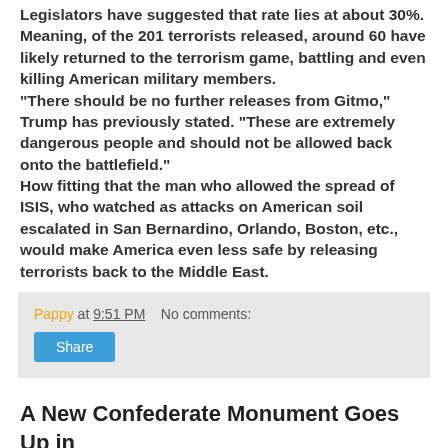Legislators have suggested that rate lies at about 30%. Meaning, of the 201 terrorists released, around 60 have likely returned to the terrorism game, battling and even killing American military members. “There should be no further releases from Gitmo,” Trump has previously stated. “These are extremely dangerous people and should not be allowed back onto the battlefield.” How fitting that the man who allowed the spread of ISIS, who watched as attacks on American soil escalated in San Bernardino, Orlando, Boston, etc., would make America even less safe by releasing terrorists back to the Middle East.
Pappy at 9:51 PM   No comments:
Share
A New Confederate Monument Goes Up in Alabama, NBC News, Alex Johnson